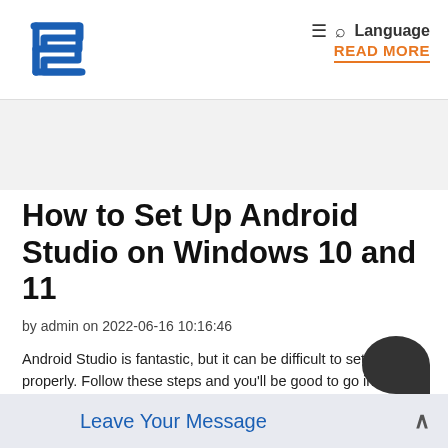Logo | ≡ 🔍 Language READ MORE
How to Set Up Android Studio on Windows 10 and 11
by admin on 2022-06-16 10:16:46
Android Studio is fantastic, but it can be difficult to set up properly. Follow these steps and you'll be good to go in no time. Android Studio is one of the best programs for Android app development. It offers a plethora of features and integrated tools for creating professional Android
Leave Your Message